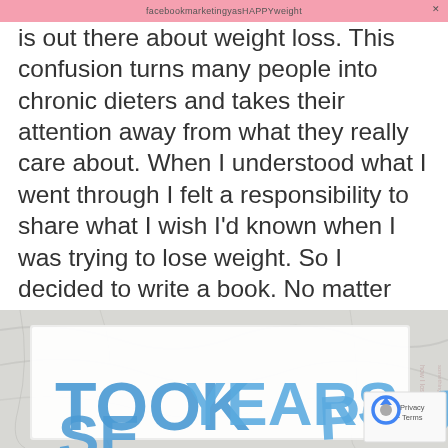facebookmarketingyasHAPPYweight
is out there about weight loss. This confusion turns many people into chronic dieters and takes their attention away from what they really care about. When I understood what I went through I felt a responsibility to share what I wish I’d known when I was trying to lose weight. So I decided to write a book. No matter how terrible an experience is, if you can pass on what you learned and help prevent someone else from repeating your difficult experience, it makes that time in your life worthwhile.
[Figure (photo): A book on a marble surface with text visible including words TOOK, YEARS, SE, POUNDS in blue letters]